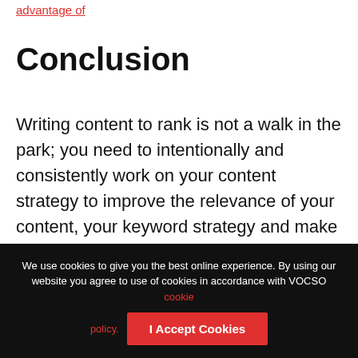advantage of
Conclusion
Writing content to rank is not a walk in the park; you need to intentionally and consistently work on your content strategy to improve the relevance of your content, your keyword strategy and make your content more useful to the users. Remember, content is still the king.
We use cookies to give you the best online experience. By using our website you agree to use of cookies in accordance with VOCSO cookie policy.
I Accept Cookies